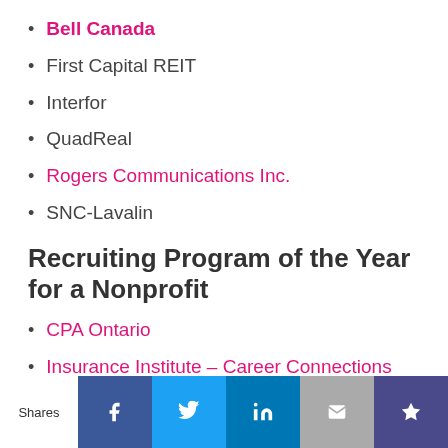Bell Canada
First Capital REIT
Interfor
QuadReal
Rogers Communications Inc.
SNC-Lavalin
Recruiting Program of the Year for a Nonprofit
CPA Ontario
Insurance Institute – Career Connections
Shares